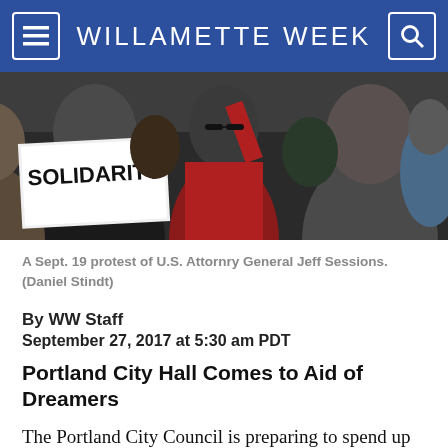WILLAMETTE WEEK
[Figure (photo): Protest photo showing people holding a 'SOLIDARITY' sign, with a woman in red raising her fist, at a Sept. 19 protest of U.S. Attorney General Jeff Sessions.]
A Sept. 19 protest of U.S. Attornry General Jeff Sessions. (Daniel Stindt)
By WW Staff
September 27, 2017 at 5:30 am PDT
Portland City Hall Comes to Aid of Dreamers
The Portland City Council is preparing to spend up to $50,000 to help undocumented immigrants